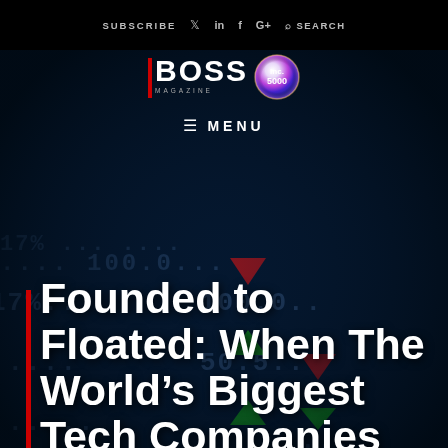SUBSCRIBE  𝕏  in  f  G+  🔍 SEARCH
[Figure (logo): BOSS Magazine logo with red vertical bar and multicolor Inc 5000 badge]
≡ MENU
[Figure (photo): Stock market ticker board background with numbers, percentages, and up/down arrows in green and red]
Founded to Floated: When The World's Biggest Tech Companies Reached IPO